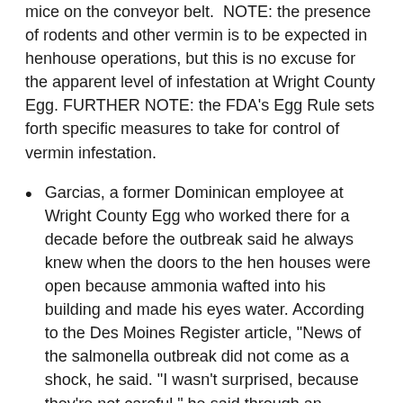mice on the conveyor belt. NOTE: the presence of rodents and other vermin is to be expected in henhouse operations, but this is no excuse for the apparent level of infestation at Wright County Egg. FURTHER NOTE: the FDA’s Egg Rule sets forth specific measures to take for control of vermin infestation.
Garcias, a former Dominican employee at Wright County Egg who worked there for a decade before the outbreak said he always knew when the doors to the hen houses were open because ammonia wafted into his building and made his eyes water. According to the Des Moines Register article, "News of the salmonella outbreak did not come as a shock, he said. "I wasn’t surprised, because they’re not careful," he said through an interpreter. "They could do more."